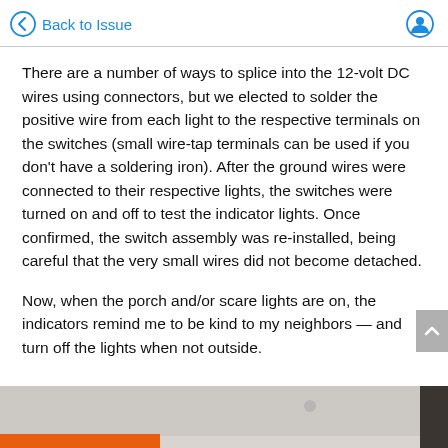Back to Issue
There are a number of ways to splice into the 12-volt DC wires using connectors, but we elected to solder the positive wire from each light to the respective terminals on the switches (small wire-tap terminals can be used if you don’t have a soldering iron). After the ground wires were connected to their respective lights, the switches were turned on and off to test the indicator lights. Once confirmed, the switch assembly was re-installed, being careful that the very small wires did not become detached.
Now, when the porch and/or scare lights are on, the indicators remind me to be kind to my neighbors — and turn off the lights when not outside.
[Figure (photo): Partial photo of a wall or surface, partially obscured, with an orange strip at bottom]